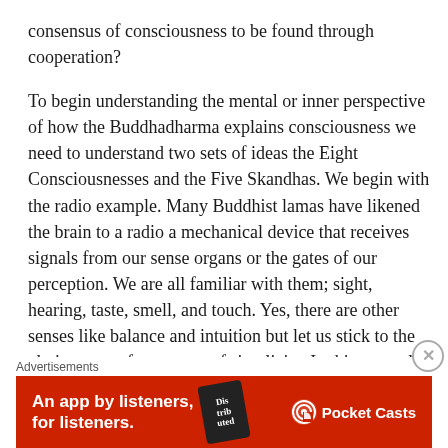consensus of consciousness to be found through cooperation?
To begin understanding the mental or inner perspective of how the Buddhadharma explains consciousness we need to understand two sets of ideas the Eight Consciousnesses and the Five Skandhas. We begin with the radio example. Many Buddhist lamas have likened the brain to a radio a mechanical device that receives signals from our sense organs or the gates of our perception. We are all familiar with them; sight, hearing, taste, smell, and touch. Yes, there are other senses like balance and intuition but let us stick to the obvious ones for reasons of simplicity. In this example, the brain acts as a radio receiving signals from 6 different stations. In Buddhist terms, the stations are called the Eight Consciousnesses. They are as follows 1. Visual (or eye) consciousness 2. Auditory (or ear) consciousness 3. Olfactory (or nose) consciousness 4.
Advertisements
[Figure (other): An advertisement banner for Pocket Casts app. Red background with white text reading 'An app by listeners, for listeners.' on the left, a phone image in the center showing 'Distributed' text, and the Pocket Casts logo on the right.]